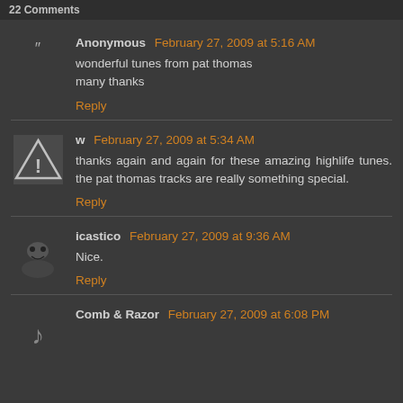22 Comments
Anonymous February 27, 2009 at 5:16 AM
wonderful tunes from pat thomas
many thanks
Reply
w February 27, 2009 at 5:34 AM
thanks again and again for these amazing highlife tunes. the pat thomas tracks are really something special.
Reply
icastico February 27, 2009 at 9:36 AM
Nice.
Reply
Comb & Razor February 27, 2009 at 6:08 PM